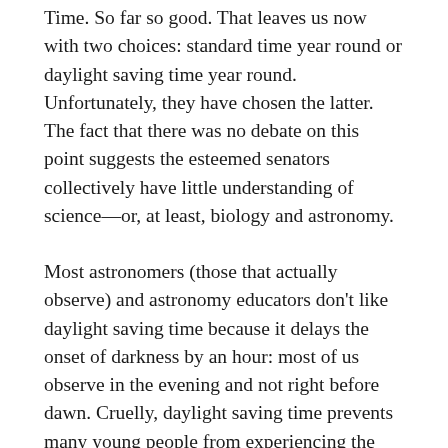Time. So far so good. That leaves us now with two choices: standard time year round or daylight saving time year round. Unfortunately, they have chosen the latter. The fact that there was no debate on this point suggests the esteemed senators collectively have little understanding of science—or, at least, biology and astronomy.
Most astronomers (those that actually observe) and astronomy educators don't like daylight saving time because it delays the onset of darkness by an hour: most of us observe in the evening and not right before dawn. Cruelly, daylight saving time prevents many young people from experiencing the wonder of the night sky because it extends da...